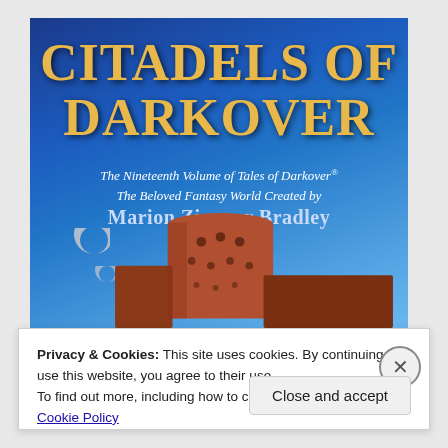[Figure (illustration): Book cover of 'Citadels of Darkover' — dark blue gradient background with a crescent moon, a reddish-brown medieval castle tower in the foreground. Title text in gold/yellow serif font at top, subtitle and author name below in white/light blue italic text.]
Privacy & Cookies: This site uses cookies. By continuing to use this website, you agree to their use.
To find out more, including how to control cookies, see here: Cookie Policy